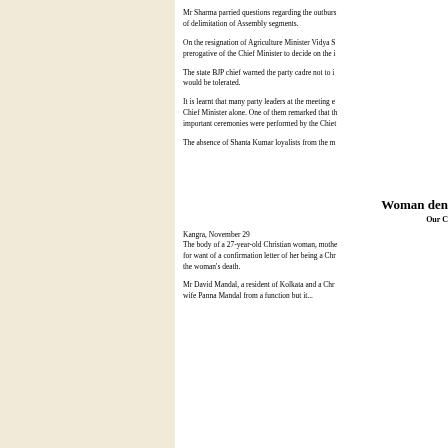Mr Sharma parried questions regarding the outburst of delimitation of Assembly segments.
On the resignation of Agriculture Minister Vidya S prerogative of the Chief Minister to decide on the i
The state BJP chief warned the party cadre not to i would be tolerated.
It is learnt that many party leaders at the meeting e Chief Minister alone. One of them remarked that th important ceremonies were performed by the Chiet
The absence of Shanta Kumar loyalists from the m
Woman den
Our C
Kangra, November 29
The body of a 27-year-old Christian woman, mothe for want of a confirmation letter of her being a Chr the woman's death.
Mr David Mandal, a resident of Kolkata and a Chr wife Panna Mandal from a function but it...